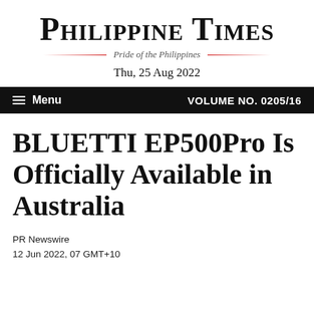PHILIPPINE TIMES
Pride of the Philippines
Thu, 25 Aug 2022
Menu   VOLUME NO. 0205/16
BLUETTI EP500Pro Is Officially Available in Australia
PR Newswire
12 Jun 2022, 07 GMT+10